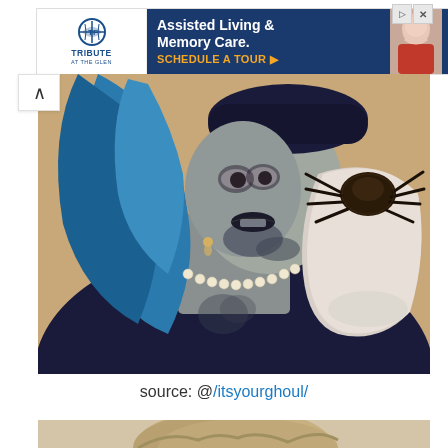[Figure (other): Advertisement banner for Tribute at the Glen - Assisted Living & Memory Care with Schedule a Tour call to action]
[Figure (photo): Woman with blue hair, zombie/ghoul Halloween makeup with dark lips and face paint, wearing pearl necklace and dark blazer, holding a large tarantula spider with a white glove]
source: @/itsyourghoul/
[Figure (photo): Bottom portion of second photo showing top of a person's head with blonde/light hair]